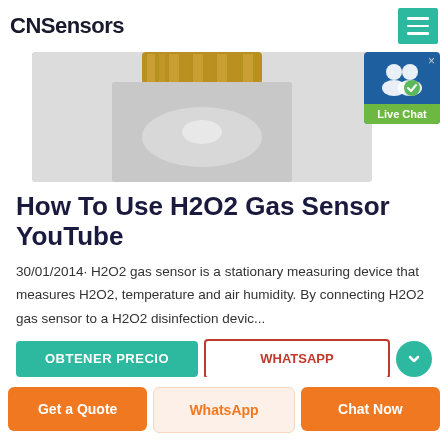CNSensors
[Figure (photo): Partial view of an H2O2 gas sensor device, metallic component on a light grey background]
[Figure (other): Live Chat widget — blue background with white user icons and green 'Live Chat' label]
How To Use H2O2 Gas Sensor YouTube
30/01/2014· H2O2 gas sensor is a stationary measuring device that measures H2O2, temperature and air humidity. By connecting H2O2 gas sensor to a H2O2 disinfection devic...
OBTENER PRECIO
WHATSAPP
Get a Quote | WhatsApp | Chat Now